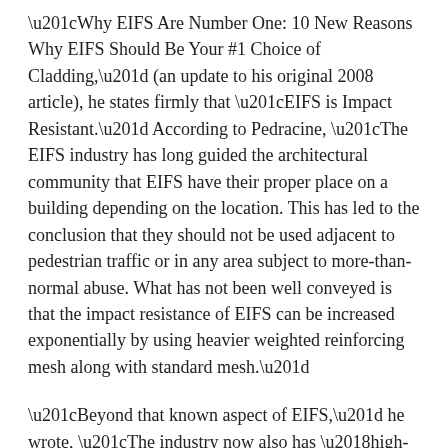“Why EIFS Are Number One: 10 New Reasons Why EIFS Should Be Your #1 Choice of Cladding,” (an update to his original 2008 article), he states firmly that “EIFS is Impact Resistant.” According to Pedracine, “The EIFS industry has long guided the architectural community that EIFS have their proper place on a building depending on the location. This has led to the conclusion that they should not be used adjacent to pedestrian traffic or in any area subject to more-than-normal abuse. What has not been well conveyed is that the impact resistance of EIFS can be increased exponentially by using heavier weighted reinforcing mesh along with standard mesh.”
“Beyond that known aspect of EIFS,” he wrote, “The industry now also has ‘high-impact’ base coats that can provide even better in-service impact resistance in